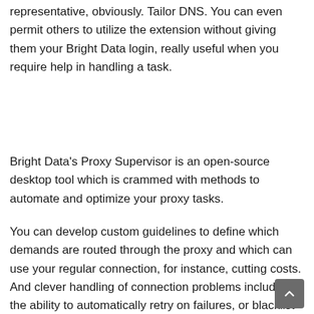representative, obviously. Tailor DNS. You can even permit others to utilize the extension without giving them your Bright Data login, really useful when you require help in handling a task.
Bright Data's Proxy Supervisor is an open-source desktop tool which is crammed with methods to automate and optimize your proxy tasks.
You can develop custom guidelines to define which demands are routed through the proxy and which can use your regular connection, for instance, cutting costs. And clever handling of connection problems includes the ability to automatically retry on failures, or blacklist IPs which offer you bad results.